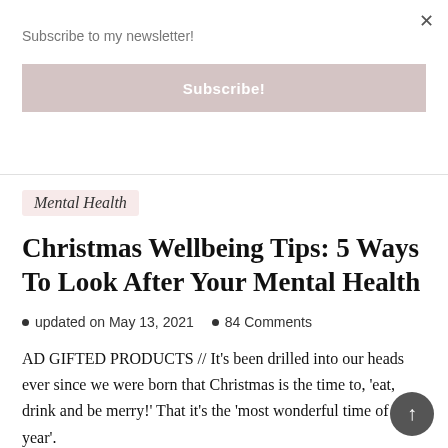×
Subscribe to my newsletter!
Subscribe!
Mental Health
Christmas Wellbeing Tips: 5 Ways To Look After Your Mental Health
updated on May 13, 2021  •  84 Comments
AD GIFTED PRODUCTS // It's been drilled into our heads ever since we were born that Christmas is the time to, 'eat, drink and be merry!' That it's the 'most wonderful time of the year'.